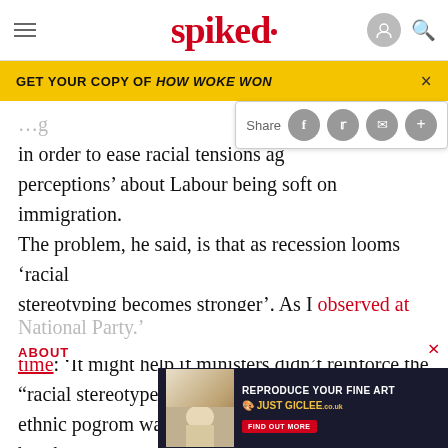spiked
GET YOUR COPY OF HOW WOKE WON
in order to ease racial tensions a... perceptions' about Labour being soft on immigration. The problem, he said, is that as recession looms 'racial stereotyping becomes stronger'. As I observed at the time: 'It might help if ministers didn't reinforce the "racial stereotype" of the white working class as an ethnic pogrom waiting to happen, a racial time bomb ready to be set off by a spark from the British National Party.'
ABOUT